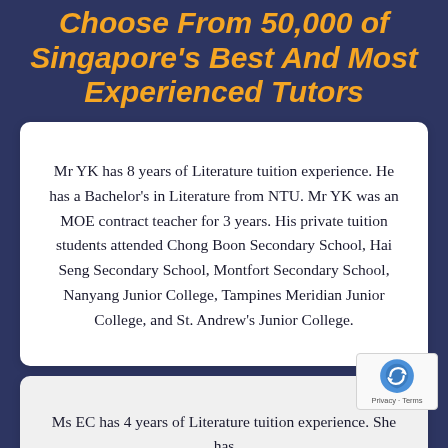Choose From 50,000 of Singapore's Best And Most Experienced Tutors
Mr YK has 8 years of Literature tuition experience. He has a Bachelor's in Literature from NTU. Mr YK was an MOE contract teacher for 3 years. His private tuition students attended Chong Boon Secondary School, Hai Seng Secondary School, Montfort Secondary School, Nanyang Junior College, Tampines Meridian Junior College, and St. Andrew's Junior College.
Ms EC has 4 years of Literature tuition experience. She has